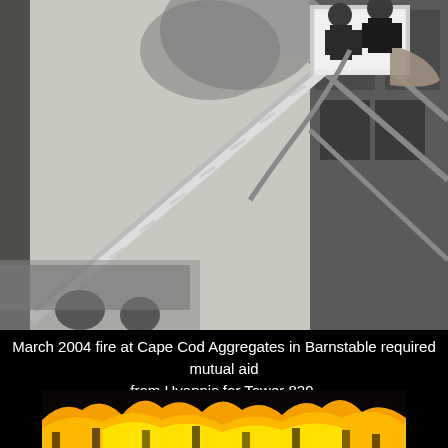[Figure (photo): Firefighters on a ladder truck aerial platform operating at a fire scene, with smoke and an industrial building structure visible in the background.]
March 2004 fire at Cape Cod Aggregates in Barnstable required mutual aid from Hyannis for Tower 829. (B Crosby photo)
[Figure (photo): Nighttime fire photo showing intense flames and orange glow against a dark background, appearing to be a large structure fire.]